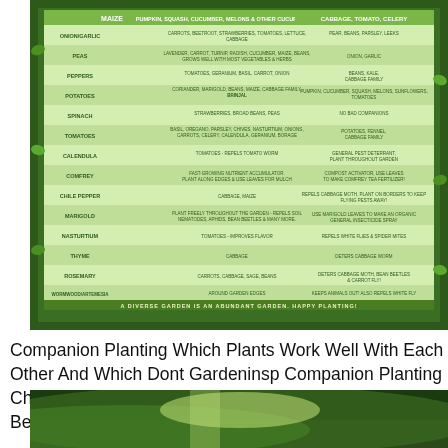[Figure (infographic): Companion planting chart showing three columns: left column lists vegetables (Maize, Onion/Garlic, Peas, Peppers, Potatoes, Spinach, Tomatoes, Calendula, Comfrey, Chile Pepper, Marigold, Nasturtium, Thyme, Rosemary, Wormwood/Artemesia, Yarrow) with illustrated icons; center column lists companion plants and planting notes; right column lists planting companions and notes. Bottom banner reads 'A DIVERSE GARDEN IS AN ABUNDANT GARDEN. HAPPY PLANTING!' Surrounded by green leafy border.]
Companion Planting Which Plants Work Well With Each Other And Which Dont Gardeninsp Companion Planting Chart Companion Planting Vegetable Garden Raised Beds
[Figure (photo): Close-up photo of a green plant or vegetable, partially visible at the bottom of the page.]